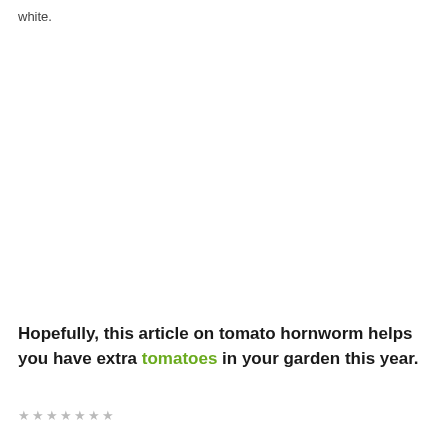white.
Hopefully, this article on tomato hornworm helps you have extra tomatoes in your garden this year.
★★★★★★★